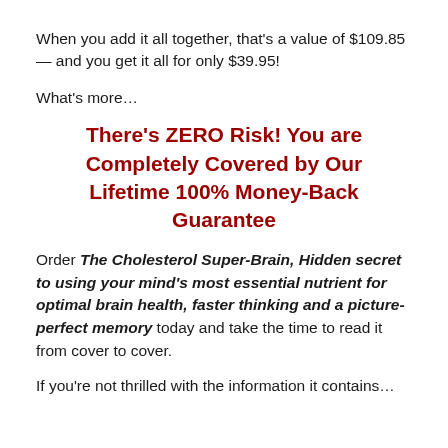When you add it all together, that's a value of $109.85 — and you get it all for only $39.95!
What's more…
There's ZERO Risk! You are Completely Covered by Our Lifetime 100% Money-Back Guarantee
Order The Cholesterol Super-Brain, Hidden secret to using your mind's most essential nutrient for optimal brain health, faster thinking and a picture-perfect memory today and take the time to read it from cover to cover.
If you're not thrilled with the information it contains…